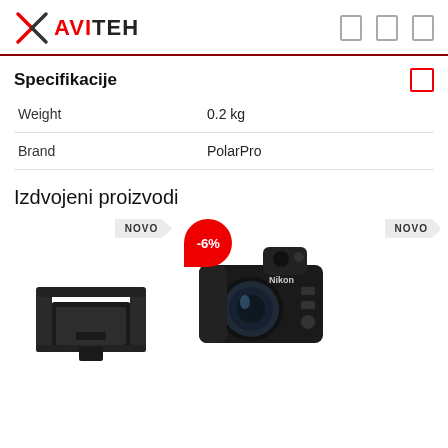AVITEH
Specifikacije
|  |  |
| --- | --- |
| Weight | 0.2 kg |
| Brand | PolarPro |
Izdvojeni proizvodi
[Figure (photo): Two product cards: a camera lens hood/monitor shade with NOVO badge, and a Nikon mirrorless camera body with -6% discount badge. A third product (partially visible) with NOVO badge on the right.]